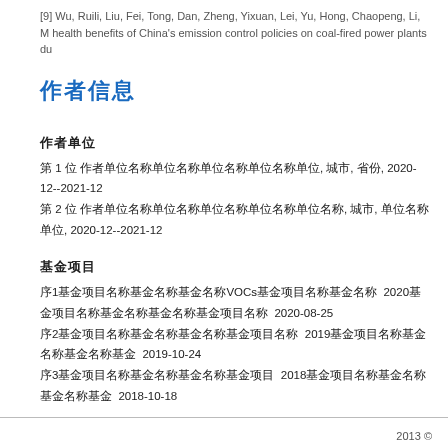[9] Wu, Ruili, Liu, Fei, Tong, Dan, Zheng, Yixuan, Lei, Yu, Hong, Chaopeng, Li, M health benefits of China's emission control policies on coal-fired power plants du
作者信息
作者单位
第 1 位 作者单位名称单位名称单位名称单位名称单位, 城市, 省份, 2020-12--2021-12
第 2 位 作者单位名称单位名称单位名称单位名称单位名称, 城市, 单位名称单位, 2020-12--2021-12
基金项目
序1 基金项目名称基金名称基金名称VOCs基金项目名称基金名称 2020 基金项目名称基金名称基金名称基金项目名称 2020-08-25
序2 基金项目名称基金名称基金名称基金项目名称 2019 基金项目名称基金名称基金名称基金 2019-10-24
序3 基金项目名称基金名称基金名称基金项目 2018 基金项目名称基金名称基金名称基金 2018-10-18
2013 ©